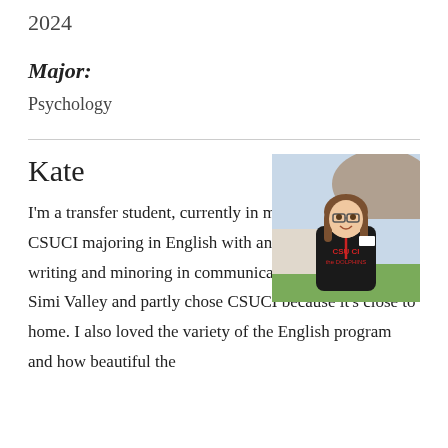2024
Major:
Psychology
Kate
[Figure (photo): Young woman wearing a black CSUCI hoodie and glasses, standing outdoors near a large rock formation and green grass, smiling at the camera with a red lanyard around her neck.]
I'm a transfer student, currently in my first year at CSUCI majoring in English with an emphasis in creative writing and minoring in communications. I grew up in Simi Valley and partly chose CSUCI because it's close to home. I also loved the variety of the English program and how beautiful the